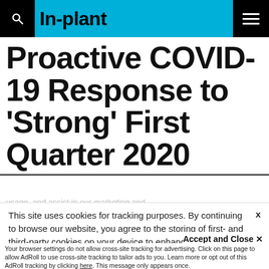In-plant
Proactive COVID-19 Response to 'Strong' First Quarter 2020
This site uses cookies for tracking purposes. By continuing to browse our website, you agree to the storing of first- and third-party cookies on your device to enhance site navigation, analyze site usage, and assist in our marketing and
Accept and Close ✕
Your browser settings do not allow cross-site tracking for advertising. Click on this page to allow AdRoll to use cross-site tracking to tailor ads to you. Learn more or opt out of this AdRoll tracking by clicking here. This message only appears once.